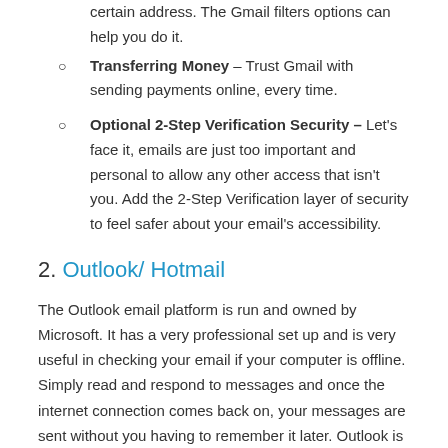certain address. The Gmail filters options can help you do it.
Transferring Money – Trust Gmail with sending payments online, every time.
Optional 2-Step Verification Security – Let's face it, emails are just too important and personal to allow any other access that isn't you. Add the 2-Step Verification layer of security to feel safer about your email's accessibility.
2. Outlook/ Hotmail
The Outlook email platform is run and owned by Microsoft. It has a very professional set up and is very useful in checking your email if your computer is offline. Simply read and respond to messages and once the internet connection comes back on, your messages are sent without you having to remember it later. Outlook is